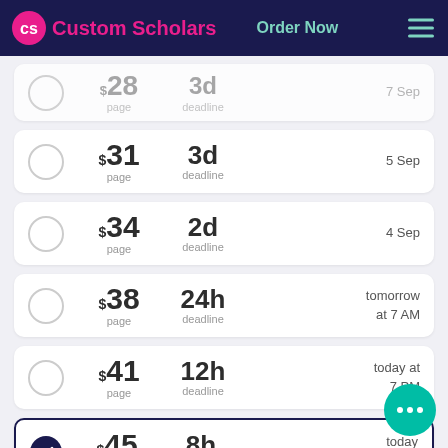Custom Scholars — Order Now
$28/page, 3d deadline, 7 Sep
$31/page, 3d deadline, 5 Sep
$34/page, 2d deadline, 4 Sep
$38/page, 24h deadline, tomorrow at 7 AM
$41/page, 12h deadline, today at 7 PM
$45/page, 8h deadline, today at 3 PM (selected)